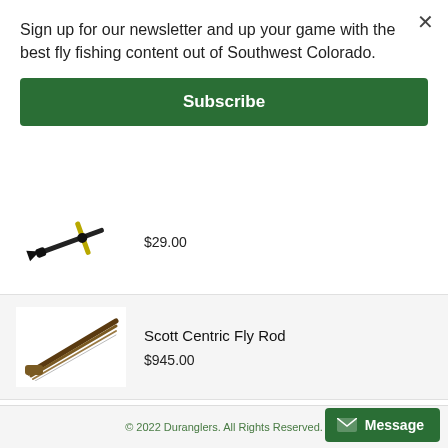Sign up for our newsletter and up your game with the best fly fishing content out of Southwest Colorado.
Subscribe
$29.00
Scott Centric Fly Rod
$945.00
RIO's Gold Jigger
$3.95
© 2022 Duranglers. All Rights Reserved.